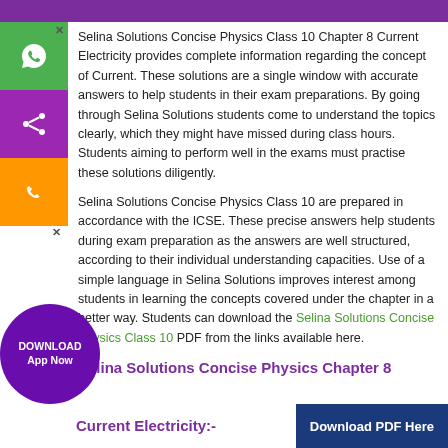[Figure (other): Purple header bar at the top of the page]
Selina Solutions Concise Physics Class 10 Chapter 8 Current Electricity provides complete information regarding the concept of Current. These solutions are a single window with accurate answers to help students in their exam preparations. By going through Selina Solutions students come to understand the topics clearly, which they might have missed during class hours. Students aiming to perform well in the exams must practise these solutions diligently.
Selina Solutions Concise Physics Class 10 are prepared in accordance with the ICSE. These precise answers help students during exam preparation as the answers are well structured, according to their individual understanding capacities. Use of a simple language in Selina Solutions improves interest among students in learning the concepts covered under the chapter in a better way. Students can download the Selina Solutions Concise Physics Class 10 PDF from the links available here.
Selina Solutions Concise Physics Chapter 8 Current Electricity:-